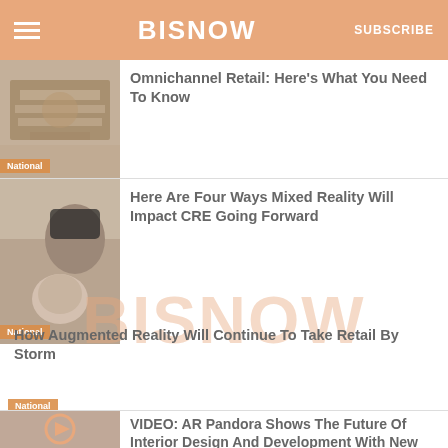BISNOW | SUBSCRIBE
[Figure (photo): Aerial view of a busy shopping mall interior with shoppers, labeled National]
Omnichannel Retail: Here's What You Need To Know
[Figure (photo): Person wearing VR headset and woman smiling, labeled National]
Here Are Four Ways Mixed Reality Will Impact CRE Going Forward
[Figure (illustration): BISNOW watermark overlay]
How Augmented Reality Will Continue To Take Retail By Storm
National
[Figure (photo): Man with VR headset in interior, Sponsored Content label, play button overlay]
VIDEO: AR Pandora Shows The Future Of Interior Design And Development With New App
Will Augmented Reality Shut Down Shopping Malls?